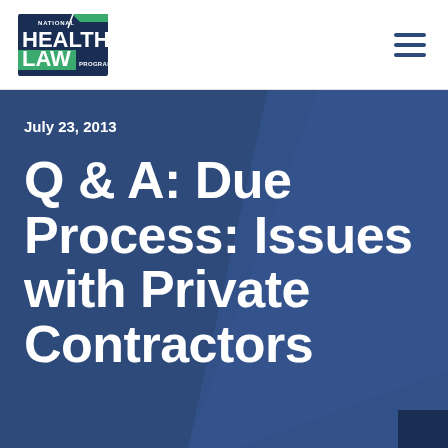[Figure (logo): National Health Law Program logo — navy rectangle with 'NATIONAL HEALTH LAW PROGRAM' text and green accent]
July 23, 2013
Q & A: Due Process: Issues with Private Contractors